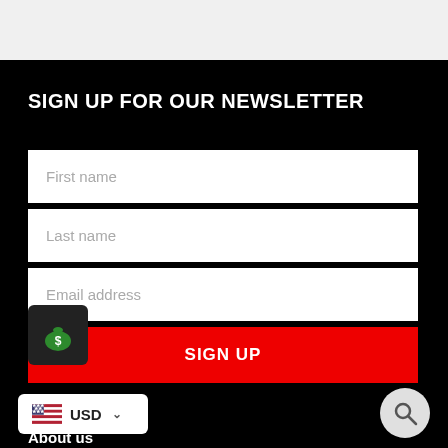[Figure (screenshot): Top navigation bar, light gray background]
SIGN UP FOR OUR NEWSLETTER
First name
Last name
Email address
SIGN UP
[Figure (illustration): Money bag icon with dollar sign, green, on dark background overlay]
USD
[Figure (illustration): US flag icon inside currency selector widget]
[Figure (illustration): Search magnifying glass icon in a light gray circle]
About us